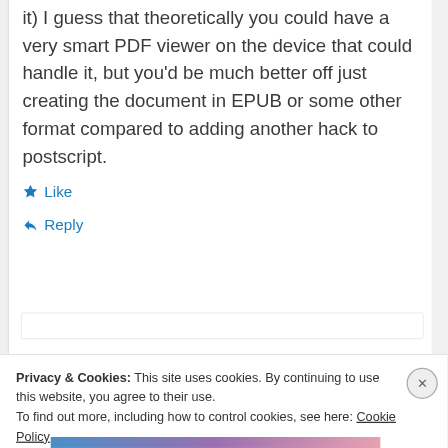it) I guess that theoretically you could have a very smart PDF viewer on the device that could handle it, but you'd be much better off just creating the document in EPUB or some other format compared to adding another hack to postscript.
Like
Reply
Privacy & Cookies: This site uses cookies. By continuing to use this website, you agree to their use.
To find out more, including how to control cookies, see here: Cookie Policy
Close and accept